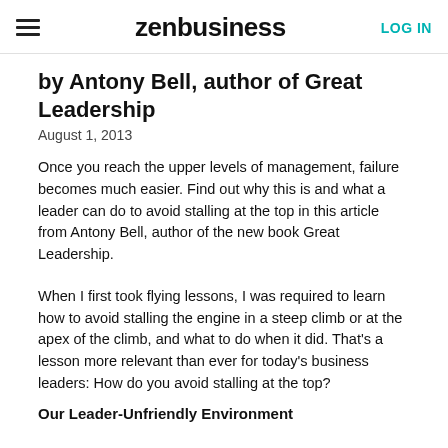zenbusiness | LOG IN
by Antony Bell, author of Great Leadership
August 1, 2013
Once you reach the upper levels of management, failure becomes much easier. Find out why this is and what a leader can do to avoid stalling at the top in this article from Antony Bell, author of the new book Great Leadership.
When I first took flying lessons, I was required to learn how to avoid stalling the engine in a steep climb or at the apex of the climb, and what to do when it did. That's a lesson more relevant than ever for today's business leaders: How do you avoid stalling at the top?
Our Leader-Unfriendly Environment